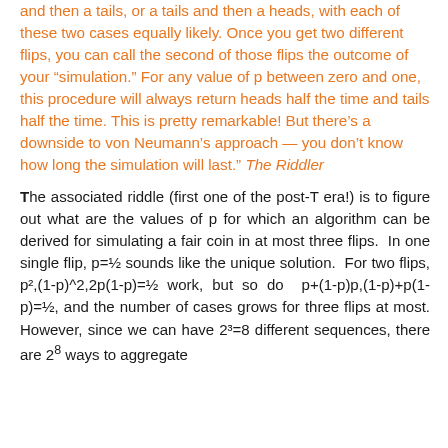and then a tails, or a tails and then a heads, with each of these two cases equally likely. Once you get two different flips, you can call the second of those flips the outcome of your "simulation." For any value of p between zero and one, this procedure will always return heads half the time and tails half the time. This is pretty remarkable! But there's a downside to von Neumann's approach — you don't know how long the simulation will last." The Riddler
The associated riddle (first one of the post-T era!) is to figure out what are the values of p for which an algorithm can be derived for simulating a fair coin in at most three flips. In one single flip, p=½ sounds like the unique solution. For two flips, p²,(1-p)^2,2p(1-p)=½ work, but so do p+(1-p)p,(1-p)+p(1-p)=½, and the number of cases grows for three flips at most. However, since we can have 2³=8 different sequences, there are 2⁸ ways to aggregate